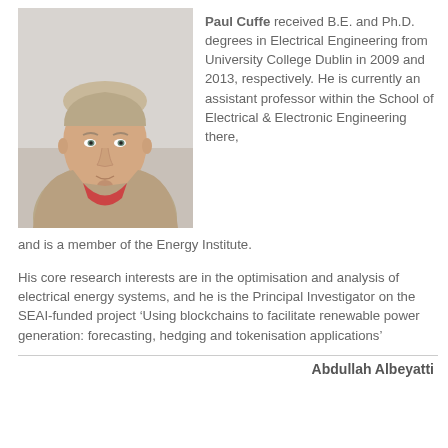[Figure (photo): Headshot photograph of Paul Cuffe, a young man with short light hair wearing a beige jacket over a red shirt, photographed against a light background.]
Paul Cuffe received B.E. and Ph.D. degrees in Electrical Engineering from University College Dublin in 2009 and 2013, respectively. He is currently an assistant professor within the School of Electrical & Electronic Engineering there, and is a member of the Energy Institute.
His core research interests are in the optimisation and analysis of electrical energy systems, and he is the Principal Investigator on the SEAI-funded project ‘Using blockchains to facilitate renewable power generation: forecasting, hedging and tokenisation applications’
Abdullah Albeyatti